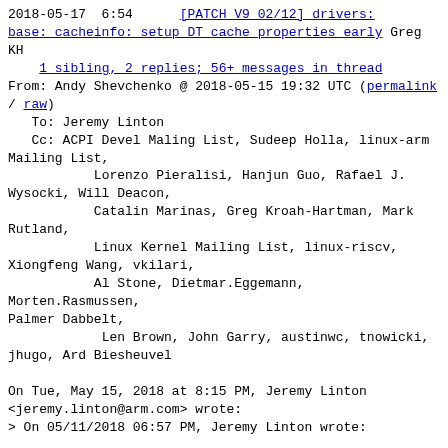2018-05-17  6:54      [PATCH V9 02/12] drivers: base: cacheinfo: setup DT cache properties early Greg KH
    1 sibling, 2 replies; 56+ messages in thread
From: Andy Shevchenko @ 2018-05-15 19:32 UTC (permalink / raw)
   To: Jeremy Linton
   Cc: ACPI Devel Maling List, Sudeep Holla, linux-arm Mailing List,
           Lorenzo Pieralisi, Hanjun Guo, Rafael J. Wysocki, Will Deacon,
           Catalin Marinas, Greg Kroah-Hartman, Mark Rutland,
           Linux Kernel Mailing List, linux-riscv, Xiongfeng Wang, vkilari,
           Al Stone, Dietmar.Eggemann, Morten.Rasmussen, Palmer Dabbelt,
            Len Brown, John Garry, austinwc, tnowicki, jhugo, Ard Biesheuvel

On Tue, May 15, 2018 at 8:15 PM, Jeremy Linton
<jeremy.linton@arm.com> wrote:
> On 05/11/2018 06:57 PM, Jeremy Linton wrote:

>>    -      cache_size = of_get_property(this_leaf->of_node, propname, NULL);
>> +        cache_size = of_get_property(np, propname, NULL);
>>          if (cache_size)
>>                  this_leaf->size =